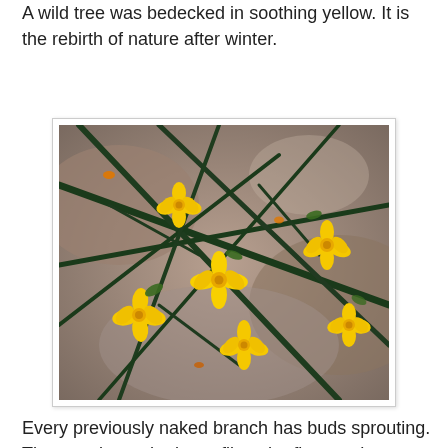A wild tree was bedecked in soothing yellow. It is the rebirth of nature after winter.
[Figure (photo): Close-up photograph of yellow jasmine flowers on dark green branches against a blurred brownish background]
Every previously naked branch has buds sprouting. The meadows, the butterflies, the flowers the fragrances, the warmth are all celebrating life.
We sat on the stone wall bordering the fields. The Sun was sweet and mellow and the stones that we were perched on were warm. Our basket had some crackers and hot tea in the thermos.  Bird songs were mellifluous and so was the